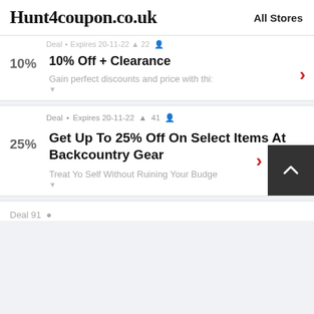Hunt4coupon.co.uk   All Stores
Deal • Expires 20-11-22 🔔 41 👤 (partial, top card)
10% Off + Clearance
Gain perfect discounts and price with thi:
Deal • Expires 20-11-22 🔔 41 👤
Get Up To 25% Off On Select Items At Backcountry Gear
Treat Yo Self Without Ruining Your Budge
Deal 91 •